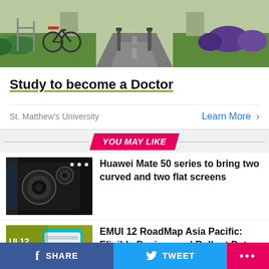[Figure (photo): Hero banner image showing a pathway with bicycle racks, greenery, bushes on sides, and bollards in the background]
Study to become a Doctor
St. Matthew's University
Learn More >
YOU MAY LIKE
[Figure (photo): Thumbnail of Huawei phone showing camera module]
Huawei Mate 50 series to bring two curved and two flat screens
[Figure (photo): Thumbnail showing EMUI 12 RoadMap Asia Pacific with phone and text overlay]
EMUI 12 RoadMap Asia Pacific: Eligible Devices and Rollout Dates
SHARE   TWEET   ...